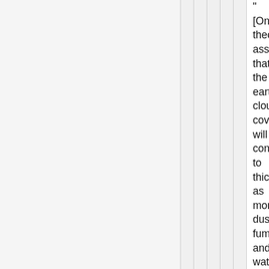"[One] theory assumes that the earth's cloud cover will continue to thicken as more dust, fumes, and water vapor are belched into the atmosphere by industrial smokestacks and jet planes. Screened from the sun's heat, the planet will cool, the water vapor will fall and freeze, and a new Ice Age will be born." — Newsweek magazine
"The world has been chilling sharply for about